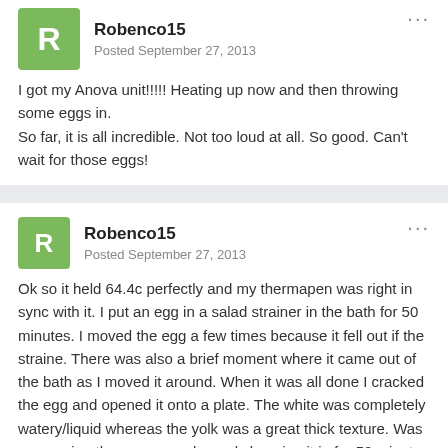Robenco15
Posted September 27, 2013
I got my Anova unit!!!!! Heating up now and then throwing some eggs in.
So far, it is all incredible. Not too loud at all. So good. Can't wait for those eggs!
Robenco15
Posted September 27, 2013
Ok so it held 64.4c perfectly and my thermapen was right in sync with it. I put an egg in a salad strainer in the bath for 50 minutes. I moved the egg a few times because it fell out if the straine. There was also a brief moment where it came out of the bath as I moved it around. When it was all done I cracked the egg and opened it onto a plate. The white was completely watery/liquid whereas the yolk was a great thick texture. Was me moving the egg around or only keeping it in for 50 minutes result in liquid whites? I thought 64.4 was enough to set thr whites. The eggs